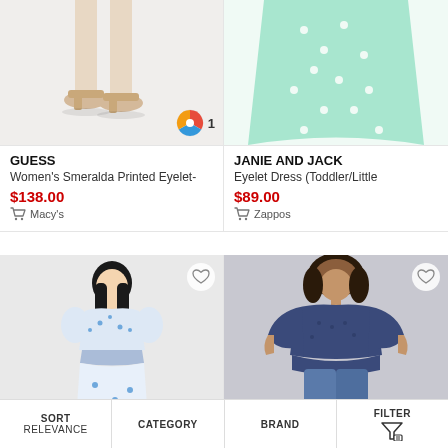[Figure (photo): Partial view of feet wearing beige sandals on white background with a color swatch badge showing '1']
[Figure (photo): Partial view of mint green eyelet dress bottom on white background]
GUESS
Women's Smeralda Printed Eyelet-
$138.00
Macy's
JANIE AND JACK
Eyelet Dress (Toddler/Little
$89.00
Zappos
[Figure (photo): Asian woman wearing white and blue floral eyelet mini dress with puff sleeves, smocked waist, on light grey background]
[Figure (photo): Woman wearing navy blue eyelet long-sleeve blouse with jeans on grey background]
SORT
Relevance
CATEGORY
BRAND
FILTER